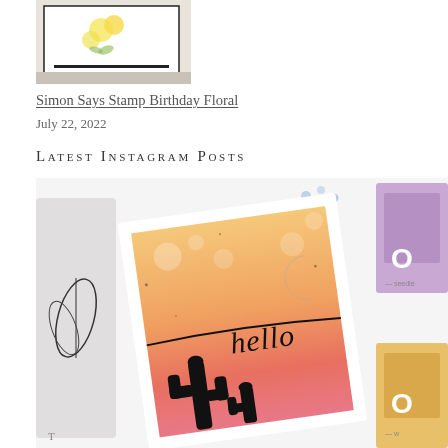[Figure (photo): A crafting card with yellow floral design on a light background, partially visible at top of page]
Simon Says Stamp Birthday Floral
July 22, 2022
Latest Instagram Posts
[Figure (photo): Instagram photo showing a handmade greeting card with an orange-pink sunset gradient background, black cactus silhouettes, a glittery crescent moon, and the word 'hello' in cursive script. Ink pads in purple and orange/yellow are partially visible on the right side. A leaf/branch design card is partially visible on the left.]